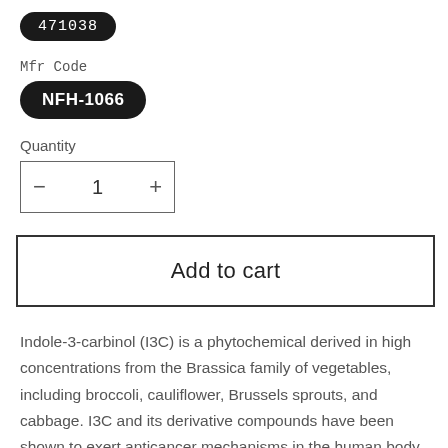[Figure (other): Black pill-shaped badge with white monospace text reading '471038']
Mfr Code
[Figure (other): Black pill-shaped badge with white bold text reading 'NFH-1066']
Quantity
[Figure (other): Quantity selector box with minus button, value '1', and plus button]
Add to cart
Indole-3-carbinol (I3C) is a phytochemical derived in high concentrations from the Brassica family of vegetables, including broccoli, cauliflower, Brussels sprouts, and cabbage. I3C and its derivative compounds have been shown to exert anticancer mechanisms in the human body. I3C has been shown to exhibit direct antiestrogenic activity via